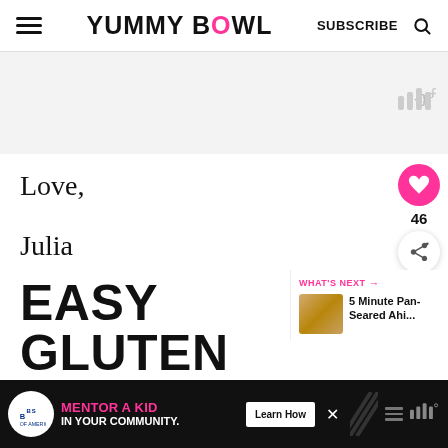YUMMY BOWL — SUBSCRIBE
[Figure (other): Light gray content placeholder area with Mediavine icon in top right]
Love,
Julia
EASY GLUTEN FREE APPETIZER
[Figure (other): What's Next panel with food image and text: 5 Minute Pan-Seared Ahi...]
[Figure (other): Ad banner: Big Brothers Big Sisters — Mentor a Kid In Your Community — Learn How button]